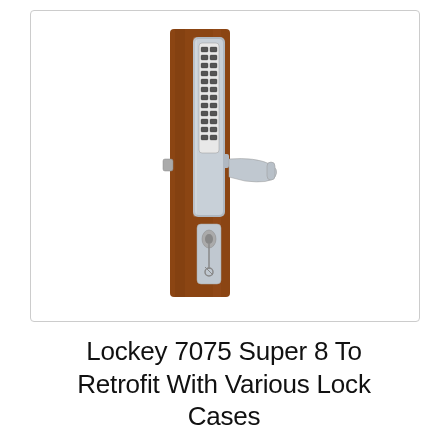[Figure (photo): Product photo of a Lockey 7075 Super 8 keypad door lock with a vertical silver keypad featuring numbered buttons, a lever handle, and a key cylinder, mounted on a wooden door stile.]
Lockey 7075 Super 8 To Retrofit With Various Lock Cases